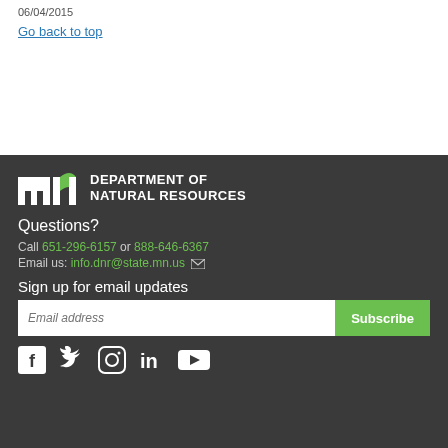06/04/2015
Go back to top
[Figure (logo): Minnesota Department of Natural Resources logo with stylized 'mn' letters and green accent]
Questions?
Call 651-296-6157 or 888-646-6367
Email us: info.dnr@state.mn.us
Sign up for email updates
Email address
Subscribe
[Figure (infographic): Social media icons: Facebook, Twitter, Instagram, LinkedIn, YouTube]